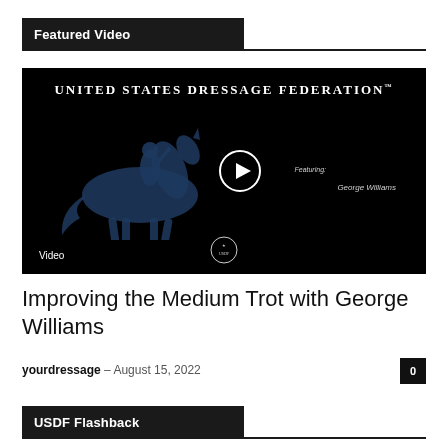Featured Video
[Figure (screenshot): Video thumbnail for USDF (United States Dressage Federation) video featuring George Williams on medium trot. Black background with blue horse and rider silhouette, play button in center, USDF logo at bottom, 'Featuring George Williams' text on right side.]
Improving the Medium Trot with George Williams
yourdressage – August 15, 2022
USDF Flashback